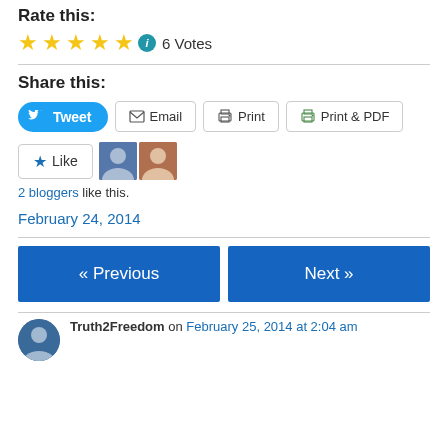Rate this:
[Figure (other): 5 gold stars rating with info icon and '6 Votes' text]
Share this:
[Figure (other): Social sharing buttons: Tweet, Email, Print, Print & PDF]
[Figure (other): Like button with star icon, and two blogger avatar thumbnails]
2 bloggers like this.
February 24, 2014
[Figure (other): Navigation buttons: Previous and Next]
Truth2Freedom on February 25, 2014 at 2:04 am